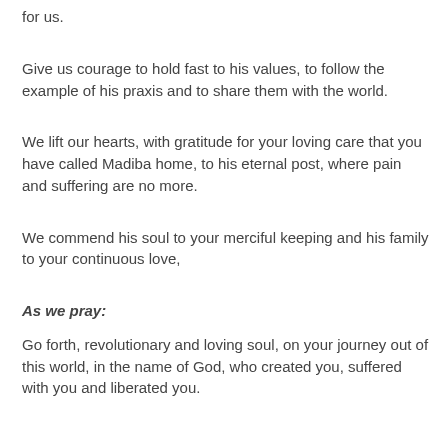for us.
Give us courage to hold fast to his values, to follow the example of his praxis and to share them with the world.
We lift our hearts, with gratitude for your loving care that you have called Madiba home, to his eternal post, where pain and suffering are no more.
We commend his soul to your merciful keeping and his family to your continuous love,
As we pray:
Go forth, revolutionary and loving soul, on your journey out of this world, in the name of God, who created you, suffered with you and liberated you.